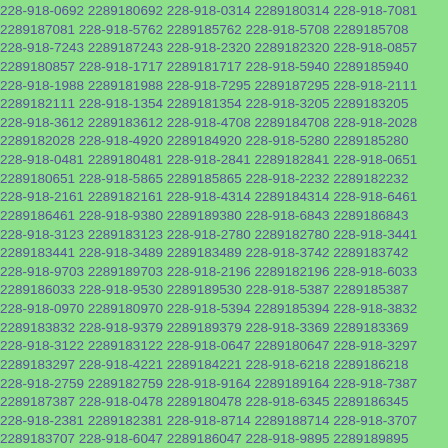228-918-0692 2289180692 228-918-0314 2289180314 228-918-7081 2289187081 228-918-5762 2289185762 228-918-5708 2289185708 228-918-7243 2289187243 228-918-2320 2289182320 228-918-0857 2289180857 228-918-1717 2289181717 228-918-5940 2289185940 228-918-1988 2289181988 228-918-7295 2289187295 228-918-2111 2289182111 228-918-1354 2289181354 228-918-3205 2289183205 228-918-3612 2289183612 228-918-4708 2289184708 228-918-2028 2289182028 228-918-4920 2289184920 228-918-5280 2289185280 228-918-0481 2289180481 228-918-2841 2289182841 228-918-0651 2289180651 228-918-5865 2289185865 228-918-2232 2289182232 228-918-2161 2289182161 228-918-4314 2289184314 228-918-6461 2289186461 228-918-9380 2289189380 228-918-6843 2289186843 228-918-3123 2289183123 228-918-2780 2289182780 228-918-3441 2289183441 228-918-3489 2289183489 228-918-3742 2289183742 228-918-9703 2289189703 228-918-2196 2289182196 228-918-6033 2289186033 228-918-9530 2289189530 228-918-5387 2289185387 228-918-0970 2289180970 228-918-5394 2289185394 228-918-3832 2289183832 228-918-9379 2289189379 228-918-3369 2289183369 228-918-3122 2289183122 228-918-0647 2289180647 228-918-3297 2289183297 228-918-4221 2289184221 228-918-6218 2289186218 228-918-2759 2289182759 228-918-9164 2289189164 228-918-7387 2289187387 228-918-0478 2289180478 228-918-6345 2289186345 228-918-2381 2289182381 228-918-8714 2289188714 228-918-3707 2289183707 228-918-6047 2289186047 228-918-9895 2289189895 228-918-0958 2289180958 228-918-1469 2289181469 228-918-6724 2289186724 228-918-0212 2289180212 228-918-7202 2289187202